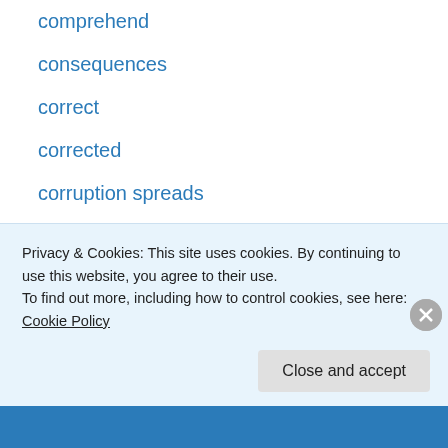comprehend
consequences
correct
corrected
corruption spreads
cross
cry out
darkness
deaf
deeper work
defilement
depravity of man
did we not hear
Privacy & Cookies: This site uses cookies. By continuing to use this website, you agree to their use. To find out more, including how to control cookies, see here: Cookie Policy
Close and accept